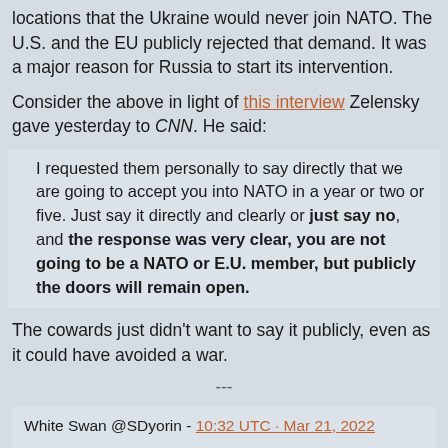locations that the Ukraine would never join NATO. The U.S. and the EU publicly rejected that demand. It was a major reason for Russia to start its intervention.
Consider the above in light of this interview Zelensky gave yesterday to CNN. He said:
I requested them personally to say directly that we are going to accept you into NATO in a year or two or five. Just say it directly and clearly or just say no, and the response was very clear, you are not going to be a NATO or E.U. member, but publicly the doors will remain open.
The cowards just didn't want to say it publicly, even as it could have avoided a war.
---
White Swan @SDyorin - 10:32 UTC · Mar 21, 2022
Head of #Ukrainian "1st volunteer mobile hospital" operating in #Donbass, political activist Gennady Druzenko claimed on '#Ukraine 24' channel that he 'ordered to каструвати captive #Russian soldiers, because they are